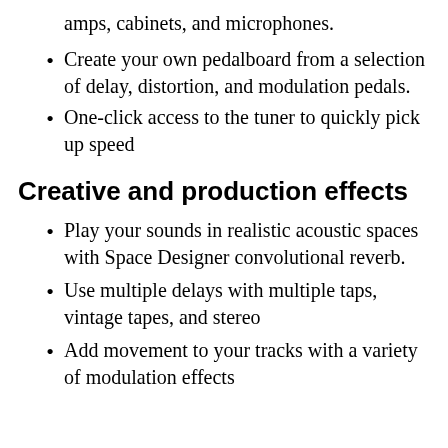amps, cabinets, and microphones.
Create your own pedalboard from a selection of delay, distortion, and modulation pedals.
One-click access to the tuner to quickly pick up speed
Creative and production effects
Play your sounds in realistic acoustic spaces with Space Designer convolutional reverb.
Use multiple delays with multiple taps, vintage tapes, and stereo
Add movement to your tracks with a variety of modulation effects